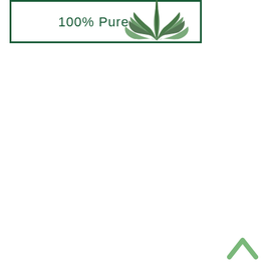[Figure (photo): Product label banner with dark green border showing '100% Pure' text and an aloe vera or agave plant illustration in the top right corner.]
[Figure (other): Green upward-pointing chevron/arrow icon in the bottom right corner, used as a scroll-to-top button.]